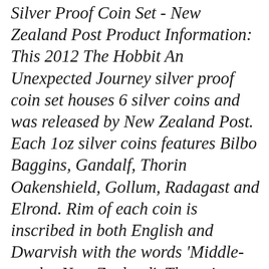Silver Proof Coin Set - New Zealand Post Product Information: This 2012 The Hobbit An Unexpected Journey silver proof coin set houses 6 silver coins and was released by New Zealand Post. Each 1oz silver coins features Bilbo Baggins, Gandalf, Thorin Oakenshield, Gollum, Radagast and Elrond. Rim of each coin is inscribed in both English and Dwarvish with the words 'Middle-earth - New Zealand'. The coins are presented within a carved wooden case - featuring the official Hobbit logo and a silhouette of the traveling party. Only 1000 coin sets were